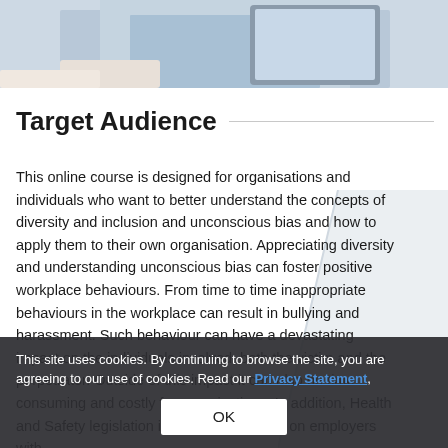[Figure (photo): Partial photo of a person holding a tablet/device, visible from chest down, wearing a light blue shirt, sitting on a light-colored surface]
Target Audience
This online course is designed for organisations and individuals who want to better understand the concepts of diversity and inclusion and unconscious bias and how to apply them to their own organisation. Appreciating diversity and understanding unconscious bias can foster positive workplace behaviours. From time to time inappropriate behaviours in the workplace can result in bullying and harassment. Such behaviour can have a devastating impact on the individuals involved, both the victim and the perpetrator. Outside of this impact it can also be time consuming and costly for organisations. In addition, Health and Safety legislation imposes obligations on employers with
This site uses cookies. By continuing to browse the site, you are agreeing to our use of cookies. Read our Privacy Statement.
OK